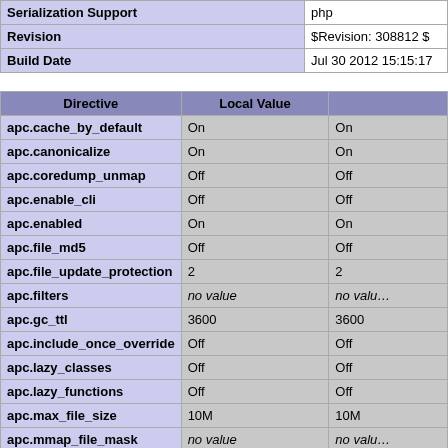|  |  |
| --- | --- |
| Serialization Support | php |
| Revision | $Revision: 308812 $ |
| Build Date | Jul 30 2012 15:15:17 |
| Directive | Local Value |  |
| --- | --- | --- |
| apc.cache_by_default | On | On |
| apc.canonicalize | On | On |
| apc.coredump_unmap | Off | Off |
| apc.enable_cli | Off | Off |
| apc.enabled | On | On |
| apc.file_md5 | Off | Off |
| apc.file_update_protection | 2 | 2 |
| apc.filters | no value | no value |
| apc.gc_ttl | 3600 | 3600 |
| apc.include_once_override | Off | Off |
| apc.lazy_classes | Off | Off |
| apc.lazy_functions | Off | Off |
| apc.max_file_size | 10M | 10M |
| apc.mmap_file_mask | no value | no value |
| apc.num_files_hint | 1000 | 1000 |
| apc.preload_path | no value | no value |